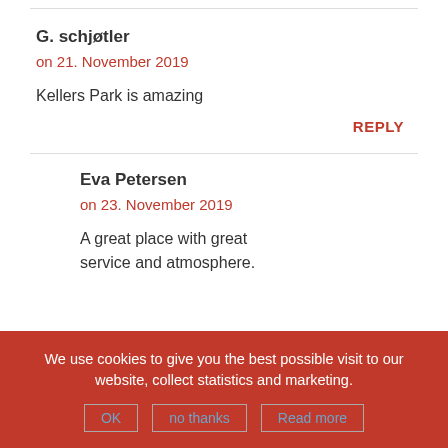G. schjøtler
on 21. November 2019
Kellers Park is amazing
REPLY
Eva Petersen
on 23. November 2019
A great place with great service and atmosphere.
We use cookies to give you the best possible visit to our website, collect statistics and marketing.
OK  no thanks  Read more